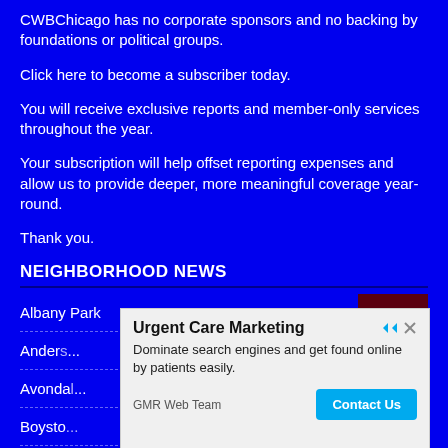CWBChicago has no corporate sponsors and no backing by foundations or political groups.
Click here to become a subscriber today.
You will receive exclusive reports and member-only services throughout the year.
Your subscription will help offset reporting expenses and allow us to provide deeper, more meaningful coverage year-round.
Thank you.
NEIGHBORHOOD NEWS
Albany Park
Anderson
Avondal
Boysto
Buckto
[Figure (other): Advertisement overlay: Urgent Care Marketing - Dominate search engines and get found online by patients easily. GMR Web Team. Contact Us button.]